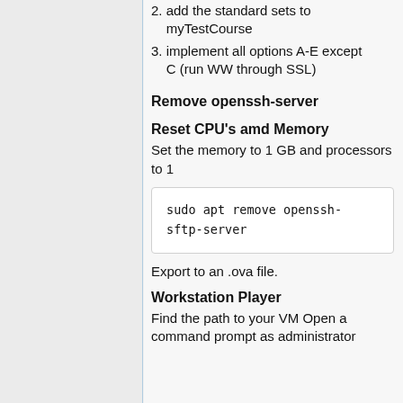2. add the standard sets to myTestCourse
3. implement all options A-E except C (run WW through SSL)
Remove openssh-server
Reset CPU's amd Memory
Set the memory to 1 GB and processors to 1
[Figure (screenshot): Code block showing: sudo apt remove openssh-sftp-server]
Export to an .ova file.
Workstation Player
Find the path to your VM Open a command prompt as administrator